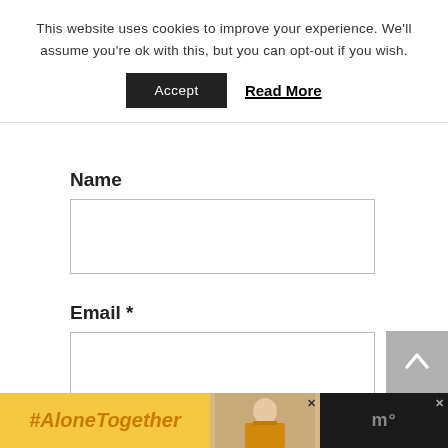This website uses cookies to improve your experience. We'll assume you're ok with this, but you can opt-out if you wish.
Accept
Read More
Name
Email *
Website
[Figure (screenshot): Cookie consent banner with Accept button and Read More link, overlaying a web form with Name, Email, and Website fields, plus an #AloneTogether advertisement banner at the bottom]